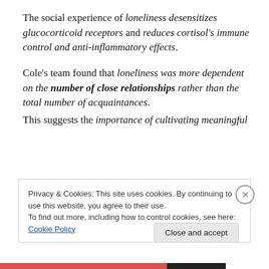The social experience of loneliness desensitizes glucocorticoid receptors and reduces cortisol's immune control and anti-inflammatory effects.
Cole's team found that loneliness was more dependent on the number of close relationships rather than the total number of acquaintances.
This suggests the importance of cultivating meaningful
Privacy & Cookies: This site uses cookies. By continuing to use this website, you agree to their use.
To find out more, including how to control cookies, see here: Cookie Policy
Close and accept